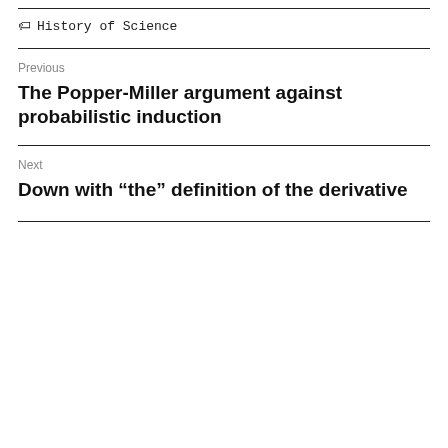History of Science
Previous
The Popper-Miller argument against probabilistic induction
Next
Down with “the” definition of the derivative